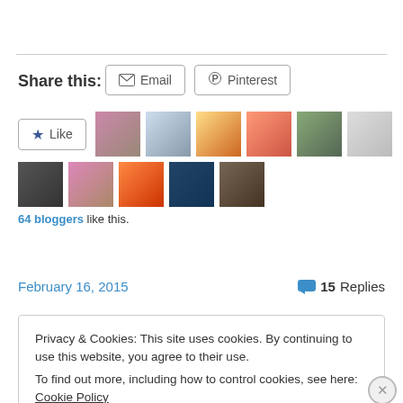Share this:
Email   Pinterest
[Figure (screenshot): Like button and blogger avatars row, with '64 bloggers like this.' text below]
February 16, 2015    💬 15 Replies
Privacy & Cookies: This site uses cookies. By continuing to use this website, you agree to their use.
To find out more, including how to control cookies, see here: Cookie Policy
[Close and accept]